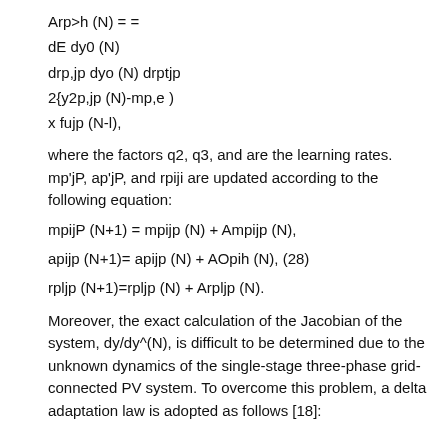where the factors q2, q3, and are the learning rates. mp'jP, ap'jP, and rpiji are updated according to the following equation:
Moreover, the exact calculation of the Jacobian of the system, dy/dy^(N), is difficult to be determined due to the unknown dynamics of the single-stage three-phase grid-connected PV system. To overcome this problem, a delta adaptation law is adopted as follows [18]: